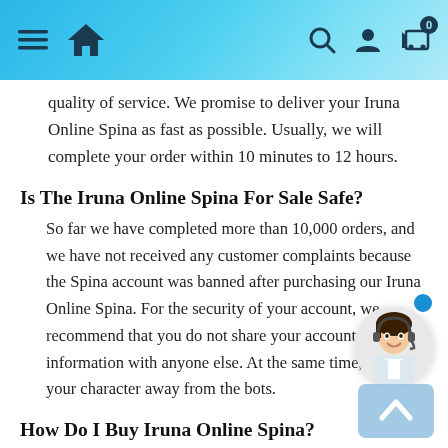Navigation bar with hamburger menu, home icon, search, account, and cart (0) icons
quality of service. We promise to deliver your Iruna Online Spina as fast as possible. Usually, we will complete your order within 10 minutes to 12 hours.
Is The Iruna Online Spina For Sale Safe?
So far we have completed more than 10,000 orders, and we have not received any customer complaints because the Spina account was banned after purchasing our Iruna Online Spina. For the security of your account, we recommend that you do not share your account information with anyone else. At the same time, keep your character away from the bots.
How Do I Buy Iruna Online Spina?
Step1: Choose your game server correctly and fill in the number of purchases. Then, make an order.
Step2: Fill in your character name, Email and other